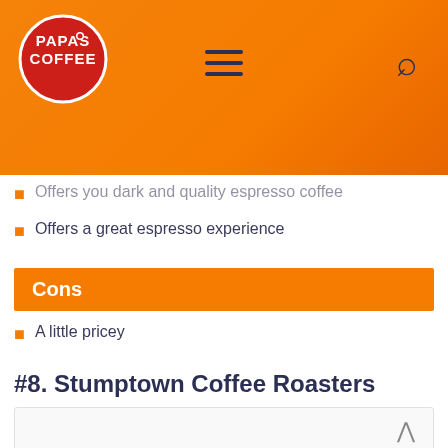[Figure (logo): Papas Coffee logo — red circle with white text]
Offers you dark and quality espresso coffee
Offers a great espresso experience
Cons
A little pricey
#8. Stumptown Coffee Roasters
[Figure (photo): Partial image of Stumptown Coffee Roasters product, mostly white/blank area visible]